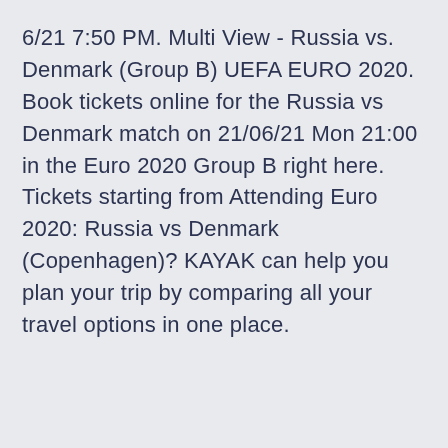6/21 7:50 PM. Multi View - Russia vs. Denmark (Group B) UEFA EURO 2020. Book tickets online for the Russia vs Denmark match on 21/06/21 Mon 21:00 in the Euro 2020 Group B right here. Tickets starting from Attending Euro 2020: Russia vs Denmark (Copenhagen)? KAYAK can help you plan your trip by comparing all your travel options in one place.